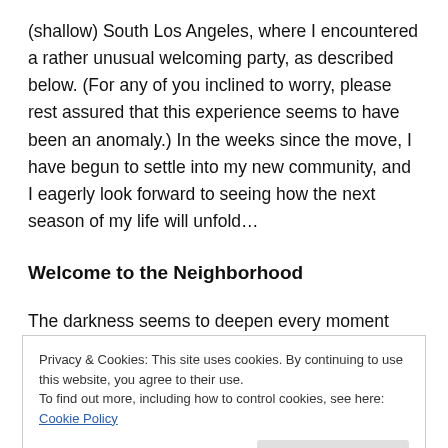(shallow) South Los Angeles, where I encountered a rather unusual welcoming party, as described below. (For any of you inclined to worry, please rest assured that this experience seems to have been an anomaly.) In the weeks since the move, I have begun to settle into my new community, and I eagerly look forward to seeing how the next season of my life will unfold…
Welcome to the Neighborhood
The darkness seems to deepen every moment
Privacy & Cookies: This site uses cookies. By continuing to use this website, you agree to their use.
To find out more, including how to control cookies, see here: Cookie Policy
Close and accept
and reputedly dangerous